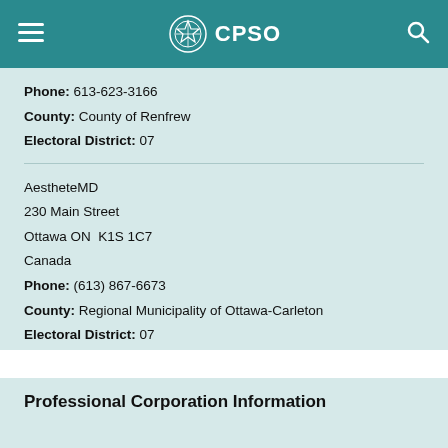CPSO
Phone: 613-623-3166
County: County of Renfrew
Electoral District: 07
AestheteMD
230 Main Street
Ottawa ON  K1S 1C7
Canada
Phone: (613) 867-6673
County: Regional Municipality of Ottawa-Carleton
Electoral District: 07
Professional Corporation Information